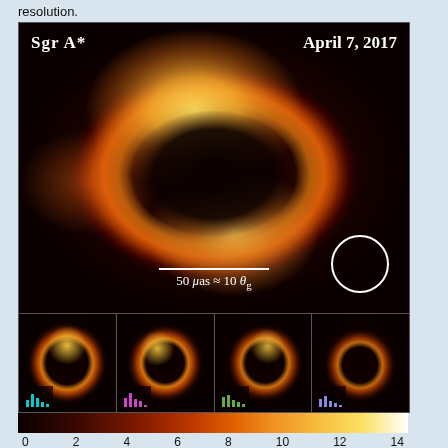resolution.
[Figure (photo): Radio image of Sgr A* black hole from April 7, 2017 observed by the Event Horizon Telescope. Main panel shows a bright orange ring-like structure (the accretion disk and photon ring) surrounding a dark central region (the black hole shadow), on a very dark background. Bottom row shows four smaller sub-images of the same source from different baselines or days, each with a small bar chart inset showing amplitude vs baseline length. A white circle in the lower right indicates the beam resolution. A scale bar reads 50 μas ≈ 10 θg. A colorbar at bottom shows Brightness Temperature (10^9 K) from 0 to 14.]